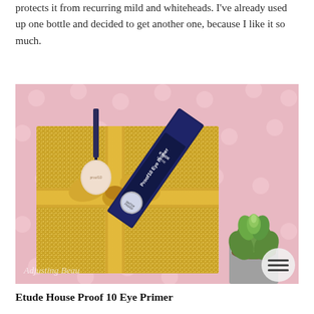protects it from recurring mild and whiteheads. I've already used up one bottle and decided to get another one, because I like it so much.
[Figure (photo): Etude House Proof 10 Eye Primer product in navy blue box with a small bottle, placed on a gold glitter gift box with ribbon, pink polka dot background, succulent plant in bottom right corner, watermark 'Adjusting Beauty' in bottom left, hamburger menu icon in bottom right]
Etude House Proof 10 Eye Primer